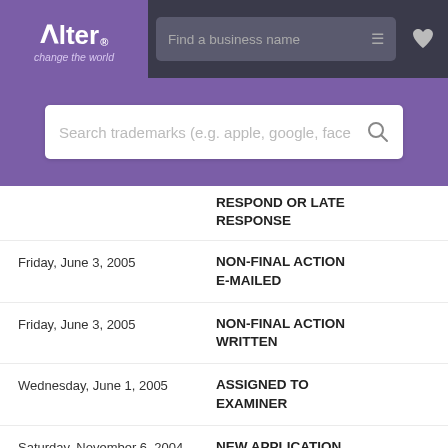[Figure (screenshot): Alter trademark search website top navigation bar with logo, business name search, and filter icon]
[Figure (screenshot): Purple banner with trademark search box placeholder text]
| Date | Status |
| --- | --- |
|  | RESPOND OR LATE RESPONSE |
| Friday, June 3, 2005 | NON-FINAL ACTION E-MAILED |
| Friday, June 3, 2005 | NON-FINAL ACTION WRITTEN |
| Wednesday, June 1, 2005 | ASSIGNED TO EXAMINER |
| Saturday, November 6, 2004 | NEW APPLICATION ENTERED IN TRAM |